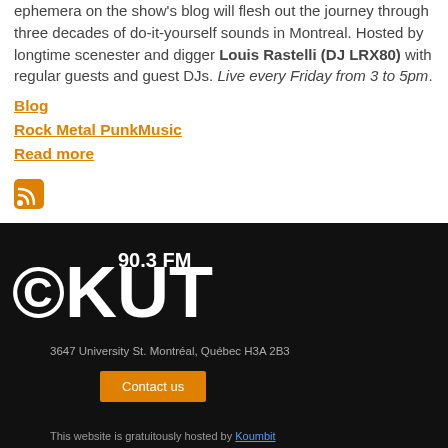ephemera on the show's blog will flesh out the journey through three decades of do-it-yourself sounds in Montreal. Hosted by longtime scenester and digger Louis Rastelli (DJ LRX80) with regular guests and guest DJs. Live every Friday from 3 to 5pm.
Blog
Rock Metal PunkMusic
Read more
[Figure (other): RSS feed icon - orange square with white wifi-style waves]
CKUT 90.3 FM — 3647 University St. Montréal, Québec H3A 2B3 — Contact us — This website is gratuitously hosted by Koumbit